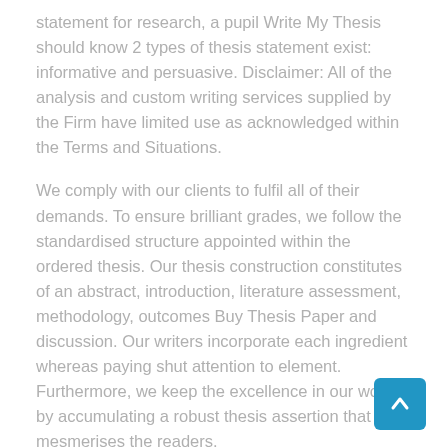statement for research, a pupil Write My Thesis should know 2 types of thesis statement exist: informative and persuasive. Disclaimer: All of the analysis and custom writing services supplied by the Firm have limited use as acknowledged within the Terms and Situations.
We comply with our clients to fulfil all of their demands. To ensure brilliant grades, we follow the standardised structure appointed within the ordered thesis. Our thesis construction constitutes of an abstract, introduction, literature assessment, methodology, outcomes Buy Thesis Paper and discussion. Our writers incorporate each ingredient whereas paying shut attention to element. Furthermore, we keep the excellence in our work by accumulating a robust thesis assertion that mesmerises the readers.